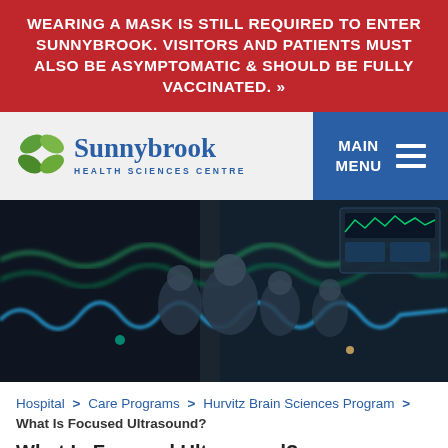WEARING A MASK IS STILL REQUIRED TO ENTER SUNNYBROOK. VISITORS AND PATIENTS MUST ALSO BE ASYMPTOMATIC & SHOULD BE FULLY VACCINATED. »
[Figure (logo): Sunnybrook Health Sciences Centre logo with green leaf icon and blue text]
[Figure (photo): Medical professionals around a patient with monitor screens showing green waveforms and blue data visualizations in a dark clinical setting]
Hospital > Care Programs > Hurvitz Brain Sciences Program > What Is Focused Ultrasound?
What Is Focused Ultrasound?
Share: [Facebook] [Twitter] [Email] | [+]